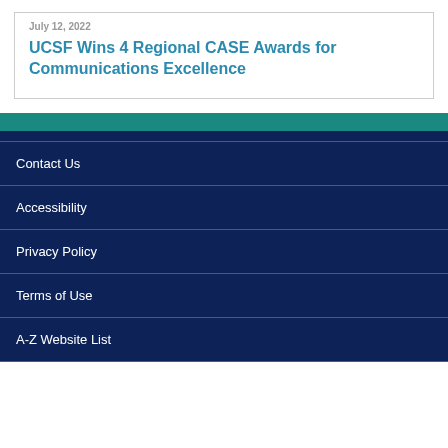July 12, 2022
UCSF Wins 4 Regional CASE Awards for Communications Excellence
Contact Us
Accessibility
Privacy Policy
Terms of Use
A-Z Website List